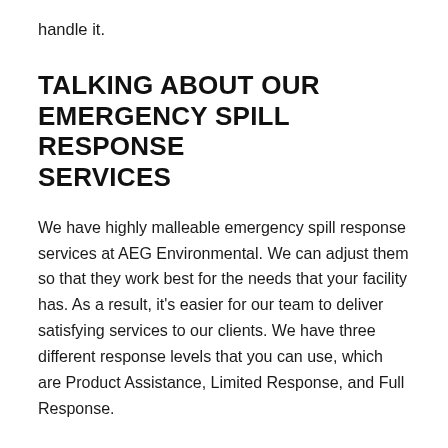handle it.
TALKING ABOUT OUR EMERGENCY SPILL RESPONSE SERVICES
We have highly malleable emergency spill response services at AEG Environmental. We can adjust them so that they work best for the needs that your facility has. As a result, it's easier for our team to deliver satisfying services to our clients. We have three different response levels that you can use, which are Product Assistance, Limited Response, and Full Response.
PRODUCT ASSISTANCE